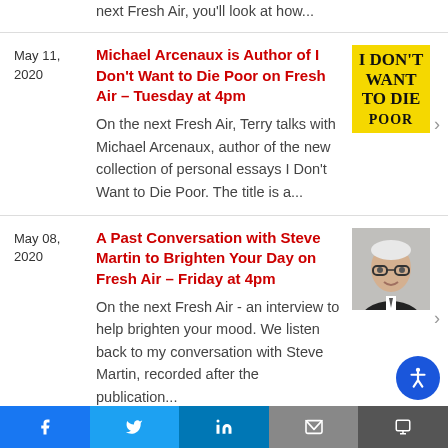next Fresh Air, you'll look at how...
May 11, 2020
Michael Arcenaux is Author of I Don't Want to Die Poor on Fresh Air – Tuesday at 4pm
On the next Fresh Air, Terry talks with Michael Arcenaux, author of the new collection of personal essays I Don't Want to Die Poor. The title is a...
[Figure (illustration): Book cover of 'I Don't Want to Die Poor' with yellow background and bold black text]
May 08, 2020
A Past Conversation with Steve Martin to Brighten Your Day on Fresh Air – Friday at 4pm
On the next Fresh Air - an interview to help brighten your mood. We listen back to my conversation with Steve Martin, recorded after the publication...
[Figure (photo): Headshot of Steve Martin, older man with white hair, glasses, dark suit and tie]